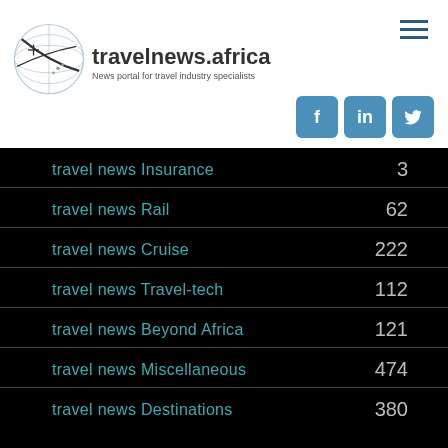[Figure (logo): travelnews.africa globe logo with site name and tagline 'News portal for travel industry specialists']
| Category | Count |
| --- | --- |
| travel news Insurance | 3 |
| travel news Rail | 62 |
| travel news Cruise | 222 |
| travel news Travel-tech | 112 |
| travel news Beyond Africa | 121 |
| travel news Miscellaneous | 474 |
| travel news Destinations | 380 |